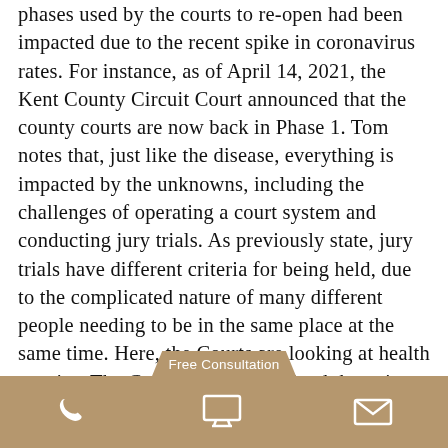phases used by the courts to re-open had been impacted due to the recent spike in coronavirus rates. For instance, as of April 14, 2021, the Kent County Circuit Court announced that the county courts are now back in Phase 1. Tom notes that, just like the disease, everything is impacted by the unknowns, including the challenges of operating a court system and conducting jury trials. As previously state, jury trials have different criteria for being held, due to the complicated nature of many different people needing to be in the same place at the same time. Here, the Courts are looking at health metrics. The Courts have determined that a jury trial eld unless
[Figure (other): Website footer bar with tan/brown background containing phone icon, monitor/computer icon, and envelope/mail icon in white, plus a 'Free Consultation' badge tab above the bar]